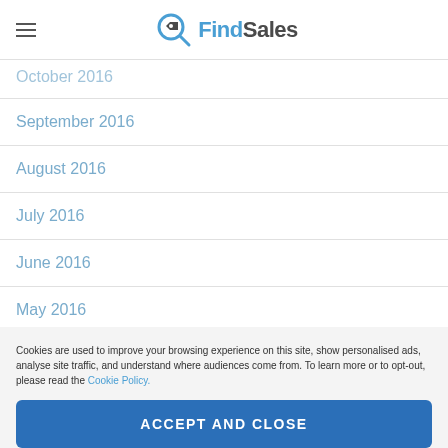FindSales
October 2016
September 2016
August 2016
July 2016
June 2016
May 2016
Cookies are used to improve your browsing experience on this site, show personalised ads, analyse site traffic, and understand where audiences come from. To learn more or to opt-out, please read the Cookie Policy.
ACCEPT AND CLOSE